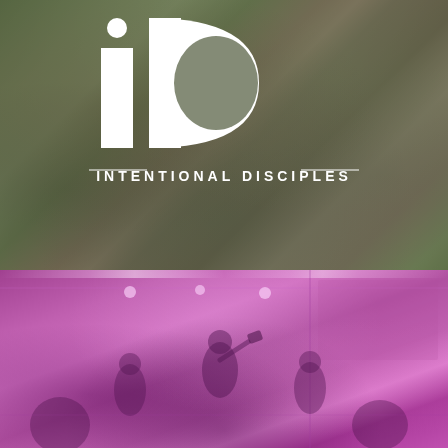[Figure (photo): Top half: outdoor photo of people sitting together eating, with a dark overlay. Overlaid with a large white 'id' logo (serif lowercase letters with a dot above the i) and the text 'INTENTIONAL DISCIPLES' in bold white spaced capitals beneath the letters.]
[Figure (photo): Bottom half: interior photo of a gathering space with people, tinted in a strong pink/magenta hue. Ceiling lights visible. People gathered in what appears to be a restaurant or event space.]